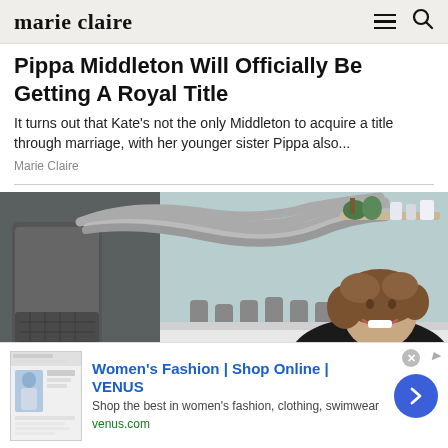marie claire
Pippa Middleton Will Officially Be Getting A Royal Title
It turns out that Kate's not the only Middleton to acquire a title through marriage, with her younger sister Pippa also...
Marie Claire
[Figure (photo): A smiling woman with curly hair wearing a black top, lying on a treatment bed next to a medical/aesthetic device with multiple gray tubes/applicators. The room has a clean clinical aesthetic with plants and shelves in the background.]
Women's Fashion | Shop Online | VENUS
Shop the best in women's fashion, clothing, swimwear
venus.com